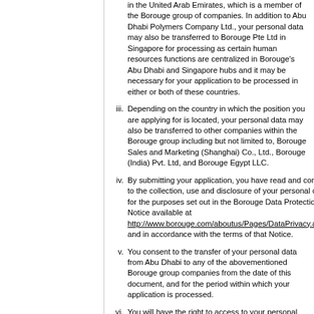in the United Arab Emirates, which is a member of the Borouge group of companies. In addition to Abu Dhabi Polymers Company Ltd., your personal data may also be transferred to Borouge Pte Ltd in Singapore for processing as certain human resources functions are centralized in Borouge's Abu Dhabi and Singapore hubs and it may be necessary for your application to be processed in either or both of these countries.
iii. Depending on the country in which the position you are applying for is located, your personal data may also be transferred to other companies within the Borouge group including but not limited to, Borouge Sales and Marketing (Shanghai) Co., Ltd., Borouge (India) Pvt. Ltd, and Borouge Egypt LLC.
iv. By submitting your application, you have read and consent to the collection, use and disclosure of your personal data for the purposes set out in the Borouge Data Protection Notice available at http://www.borouge.com/aboutus/Pages/DataPrivacy.aspx, and in accordance with the terms of that Notice.
v. You consent to the transfer of your personal data from Abu Dhabi to any of the abovementioned Borouge group companies from the date of this document, and for the period within which your application is processed.
vi. You will have the right to access to your personal data, request to make amendments for accuracy and withdraw consent by contacting the Borouge Recruitment Team or the Borouge Data